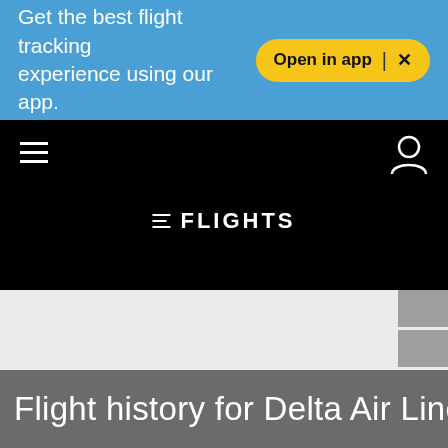Get the best flight tracking experience using our app. Open in app ×
≡ FLIGHTS
Flight history for Delta Air Lines flight DL3885